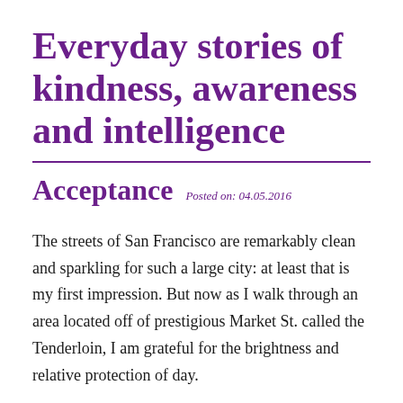Everyday stories of kindness, awareness and intelligence
Acceptance  Posted on: 04.05.2016
The streets of San Francisco are remarkably clean and sparkling for such a large city: at least that is my first impression. But now as I walk through an area located off of prestigious Market St. called the Tenderloin, I am grateful for the brightness and relative protection of day.